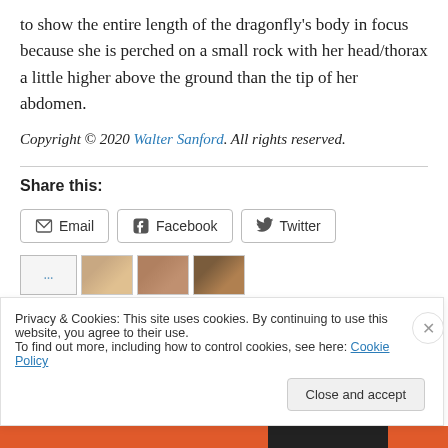to show the entire length of the dragonfly's body in focus because she is perched on a small rock with her head/thorax a little higher above the ground than the tip of her abdomen.
Copyright © 2020 Walter Sanford. All rights reserved.
Share this:
Email   Facebook   Twitter
[Figure (screenshot): Partial row of thumbnail images and a share button]
Privacy & Cookies: This site uses cookies. By continuing to use this website, you agree to their use.
To find out more, including how to control cookies, see here: Cookie Policy
Close and accept